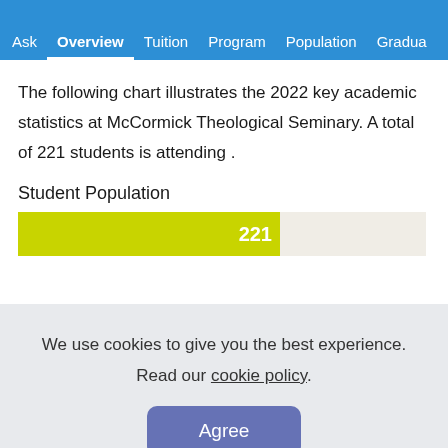Ask  Overview  Tuition  Program  Population  Gradua…
The following chart illustrates the 2022 key academic statistics at McCormick Theological Seminary. A total of 221 students is attending .
Student Population
[Figure (bar-chart): Student Population]
We use cookies to give you the best experience. Read our cookie policy.